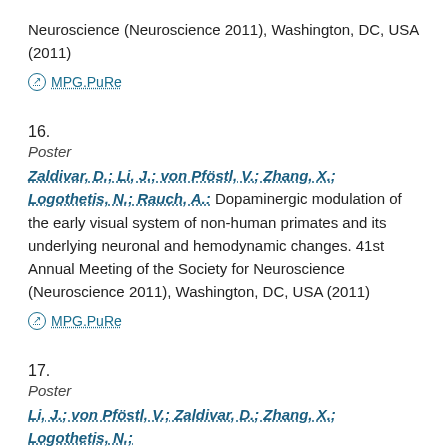Neuroscience (Neuroscience 2011), Washington, DC, USA (2011)
MPG.PuRe
16.
Poster
Zaldivar, D.; Li, J.; von Pföstl, V.; Zhang, X.; Logothetis, N.; Rauch, A.: Dopaminergic modulation of the early visual system of non-human primates and its underlying neuronal and hemodynamic changes. 41st Annual Meeting of the Society for Neuroscience (Neuroscience 2011), Washington, DC, USA (2011)
MPG.PuRe
17.
Poster
Li, J.; von Pföstl, V.; Zaldivar, D.; Zhang, X.; Logothetis, N.;